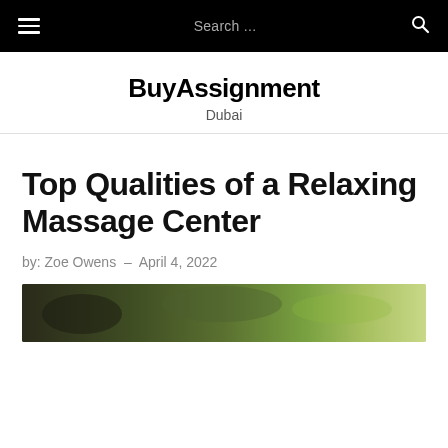BuyAssignment Dubai
Top Qualities of a Relaxing Massage Center
by: Zoe Owens – April 4, 2022
[Figure (photo): Partial view of a green outdoor/nature scene, likely top of article image]